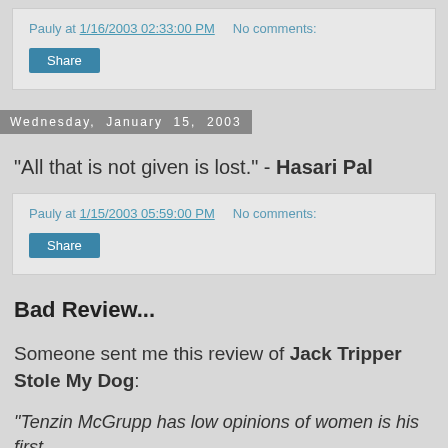Pauly at 1/16/2003 02:33:00 PM    No comments:
Share
Wednesday, January 15, 2003
"All that is not given is lost." - Hasari Pal
Pauly at 1/15/2003 05:59:00 PM    No comments:
Share
Bad Review...
Someone sent me this review of Jack Tripper Stole My Dog:
"Tenzin McGrupp has low opinions of women is his first